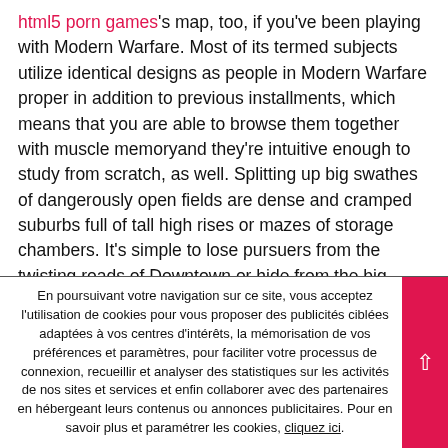html5 porn games's map, too, if you've been playing with Modern Warfare. Most of its termed subjects utilize identical designs as people in Modern Warfare proper in addition to previous installments, which means that you are able to browse them together with muscle memoryand they're intuitive enough to study from scratch, as well. Splitting up big swathes of dangerously open fields are dense and cramped suburbs full of tall high rises or mazes of storage chambers. It's simple to lose pursuers from the twisting roads of Downtown or hide from the big industrial factories of the Lumberyard, worthwhile your memory in their various designs because you turn a ambush in to the chance to strike. Huge buildings may become frustrating with their very long stairwells as loot is just hidden
En poursuivant votre navigation sur ce site, vous acceptez l'utilisation de cookies pour vous proposer des publicités ciblées adaptées à vos centres d'intérêts, la mémorisation de vos préférences et paramètres, pour faciliter votre processus de connexion, recueillir et analyser des statistiques sur les activités de nos sites et services et enfin collaborer avec des partenaires en hébergeant leurs contenus ou annonces publicitaires. Pour en savoir plus et paramétrer les cookies, cliquez ici.